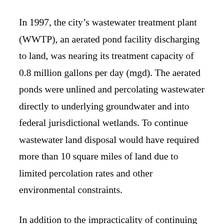In 1997, the city's wastewater treatment plant (WWTP), an aerated pond facility discharging to land, was nearing its treatment capacity of 0.8 million gallons per day (mgd). The aerated ponds were unlined and percolating wastewater directly to underlying groundwater and into federal jurisdictional wetlands. To continue wastewater land disposal would have required more than 10 square miles of land due to limited percolation rates and other environmental constraints.
In addition to the impracticality of continuing with the land disposal approach, there were three significant challenges affecting city wastewater